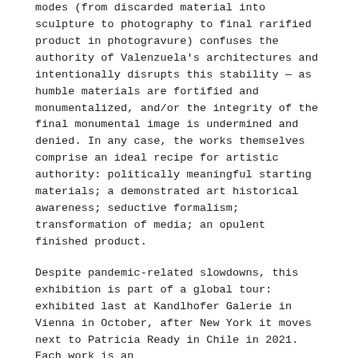modes (from discarded material into sculpture to photography to final rarified product in photogravure) confuses the authority of Valenzuela's architectures and intentionally disrupts this stability — as humble materials are fortified and monumentalized, and/or the integrity of the final monumental image is undermined and denied. In any case, the works themselves comprise an ideal recipe for artistic authority: politically meaningful starting materials; a demonstrated art historical awareness; seductive formalism; transformation of media; an opulent finished product.
Despite pandemic-related slowdowns, this exhibition is part of a global tour: exhibited last at Kandlhofer Galerie in Vienna in October, after New York it moves next to Patricia Ready in Chile in 2021. Each work is an